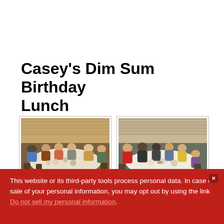Casey's Dim Sum Birthday Lunch
[Figure (photo): Group of people seated around a round table at a restaurant, warm lighting, wooden blinds in background, food on table. Left photo of two at the birthday lunch.]
[Figure (photo): Group of people seated around a round table at a restaurant, cooler lighting, wooden blinds in background, food on table. Right photo of the birthday lunch group.]
This website or its third-party tools process personal data. In case of sale of your personal information, you may opt out by using the link Do not sell my personal information.